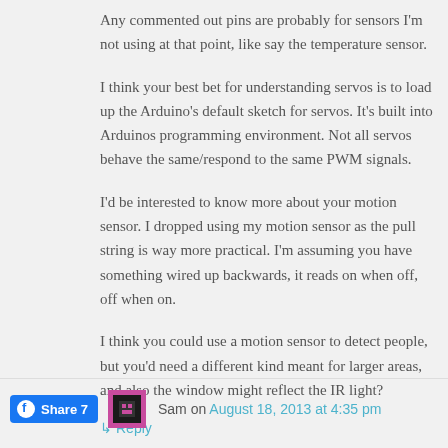Any commented out pins are probably for sensors I'm not using at that point, like say the temperature sensor.
I think your best bet for understanding servos is to load up the Arduino's default sketch for servos. It's built into Arduinos programming environment. Not all servos behave the same/respond to the same PWM signals.
I'd be interested to know more about your motion sensor. I dropped using my motion sensor as the pull string is way more practical. I'm assuming you have something wired up backwards, it reads on when off, off when on.
I think you could use a motion sensor to detect people, but you'd need a different kind meant for larger areas, and also the window might reflect the IR light?
↳ Reply
Sam on August 18, 2013 at 4:35 pm